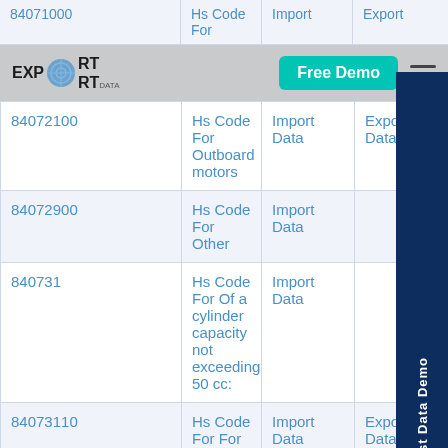| HS Code | Description | Import | Export |
| --- | --- | --- | --- |
| 84071000 | Hs Code For | Import | Export |
| 84072100 | Hs Code For Outboard motors | Import Data | Export Data |
| 84072900 | Hs Code For Other | Import Data | Export Data |
| 840731 | Hs Code For Of a cylinder capacity not exceeding 50 cc: | Import Data | Export Data |
| 84073110 | Hs Code For For motor cycles | Import Data | Export Data |
| 84073190 | Hs Code For Other | Import Data | Export Data |